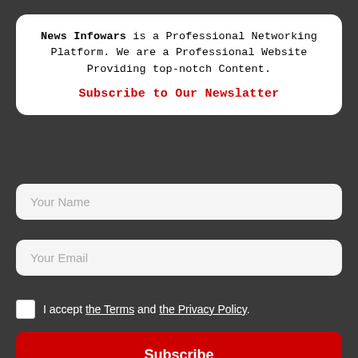News Infowars is a Professional Networking Platform. We are a Professional Website Providing top-notch Content.
Subscribe to Our Newslatter
Your Name
Your Email
I accept the Terms and the Privacy Policy.
Subscribe
6: Now that your blog is getting a lot of traffic, you can apply for Google AdSense for your blog.
Google will not accept AdSense on your blog if you apply for zero traffic on Google AdSense.
We hope you find this article helpful on how to